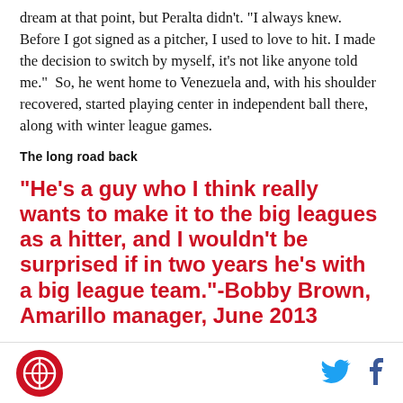dream at that point, but Peralta didn't. "I always knew. Before I got signed as a pitcher, I used to love to hit. I made the decision to switch by myself, it's not like anyone told me." So, he went home to Venezuela and, with his shoulder recovered, started playing center in independent ball there, along with winter league games.
The long road back
"He's a guy who I think really wants to make it to the big leagues as a hitter, and I wouldn't be surprised if in two years he's with a big league team."-Bobby Brown, Amarillo manager, June 2013
[Figure (logo): Red circular logo with white icon in center]
[Figure (other): Twitter bird icon in blue]
[Figure (other): Facebook f icon in dark blue]